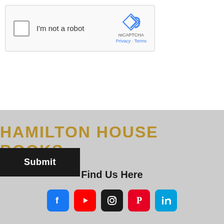[Figure (screenshot): reCAPTCHA widget with checkbox labeled 'I'm not a robot', Google reCAPTCHA logo, Privacy and Terms links]
Submit
HAMILTON HOUSE BOOKS
Find Us Here
[Figure (infographic): Social media icons: Facebook, YouTube, Instagram, Pinterest, LinkedIn]